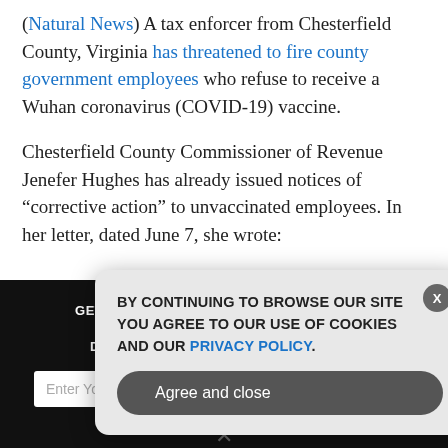(Natural News) A tax enforcer from Chesterfield County, Virginia has threatened to fire county government employees who refuse to receive a Wuhan coronavirus (COVID-19) vaccine.
Chesterfield County Commissioner of Revenue Jenefer Hughes has already issued notices of “corrective action” to unvaccinated employees. In her letter, dated June 7, she wrote:
[Figure (screenshot): Dark newsletter signup section with email input field and SUBSCRIBE button, with a cookie consent modal overlay. Modal reads: BY CONTINUING TO BROWSE OUR SITE YOU AGREE TO OUR USE OF COOKIES AND OUR PRIVACY POLICY. with an Agree and close button.]